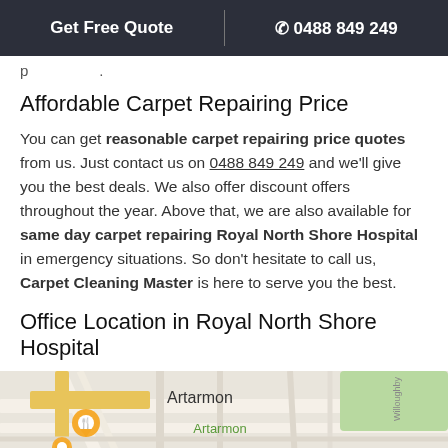Get Free Quote | ☎ 0488 849 249
p...
Affordable Carpet Repairing Price
You can get reasonable carpet repairing price quotes from us. Just contact us on 0488 849 249 and we'll give you the best deals. We also offer discount offers throughout the year. Above that, we are also available for same day carpet repairing Royal North Shore Hospital in emergency situations. So don't hesitate to call us, Carpet Cleaning Master is here to serve you the best.
Office Location in Royal North Shore Hospital
[Figure (map): Street map showing Artarmon area near Royal North Shore Hospital with map pins and street layout]